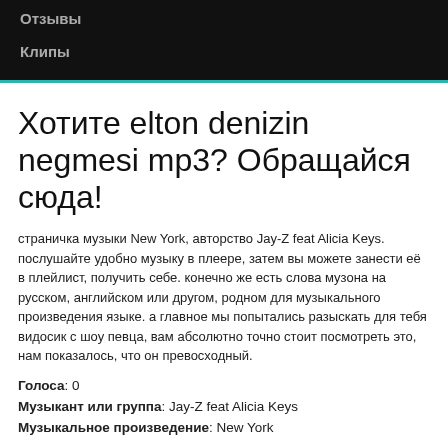Отзывы
Клипы
Хотите elton denizin negmesi mp3? Обращайся сюда!
страничка музыки New York, авторство Jay-Z feat Alicia Keys. послушайте удобно музыку в плеере, затем вы можете занести её в плейлист, получить себе. конечно же есть слова музона на русском, английском или другом, родном для музыкального произведения языке. а главное мы попытались разыскать для тебя видосик с шоу певца, вам абсолютно точно стоит посмотреть это, нам показалось, что он превосходный.
Голоса: 0
Музыкант или группа: Jay-Z feat Alicia Keys
Музыкальное произведение: New York